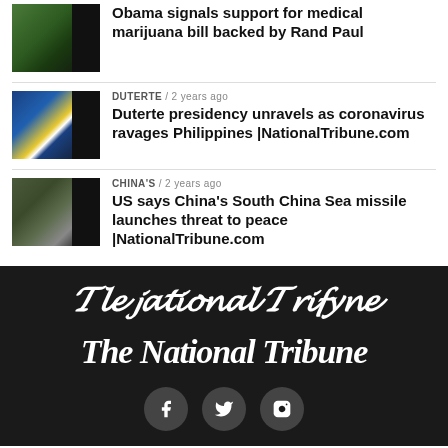[Figure (photo): Thumbnail of marijuana/cannabis leaves with dark overlay on right]
Obama signals support for medical marijuana bill backed by Rand Paul
DUTERTE / 2 years ago
[Figure (photo): Thumbnail of Duterte with Philippine flag, dark overlay on right]
Duterte presidency unravels as coronavirus ravages Philippines |NationalTribune.com
CHINA'S / 2 years ago
[Figure (photo): Thumbnail of military vehicles/missiles, dark overlay on right]
US says China's South China Sea missile launches threat to peace |NationalTribune.com
The National Tribune
[Figure (logo): The National Tribune blackletter logo with social media icons (Facebook, Twitter, Instagram)]